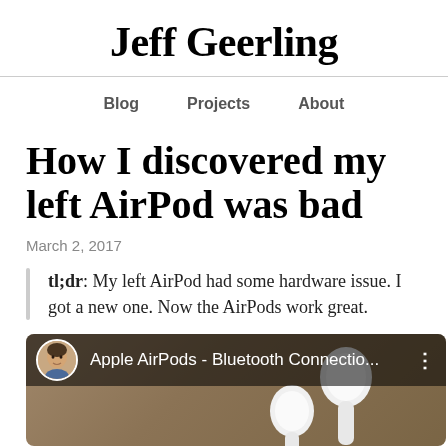Jeff Geerling
Blog   Projects   About
How I discovered my left AirPod was bad
March 2, 2017
tl;dr: My left AirPod had some hardware issue. I got a new one. Now the AirPods work great.
[Figure (screenshot): YouTube video thumbnail showing Apple AirPods - Bluetooth Connectio... with a circular avatar of Jeff Geerling and AirPods visible in the background]